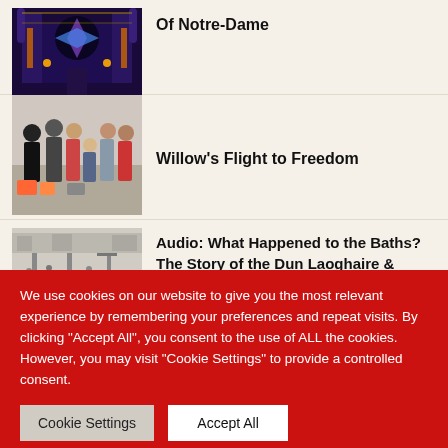[Figure (photo): Interior of Notre-Dame basilica with colorful lights and ornate architecture]
Of Notre-Dame
[Figure (photo): Group photo of several people including adults and children]
Willow's Flight to Freedom
[Figure (photo): Black and white historical photo of outdoor baths with people]
Audio: What Happened to the Baths? The Story of the Dun Laoghaire & Blackrock Baths
We use cookies on our website to give you the most relevant experience by remembering your preferences and repeat visits. By clicking "Accept All", you consent to the use of ALL the cookies. However, you may visit "Cookie Settings" to provide a controlled consent.
Cookie Settings   Accept All